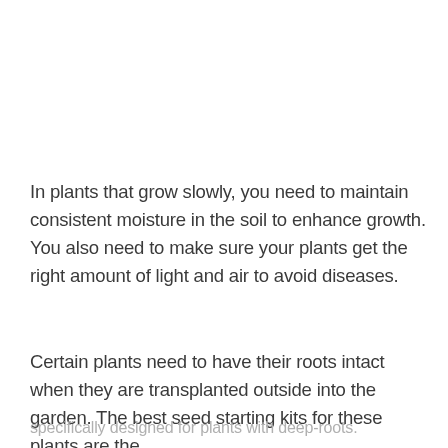In plants that grow slowly, you need to maintain consistent moisture in the soil to enhance growth. You also need to make sure your plants get the right amount of light and air to avoid diseases.
Certain plants need to have their roots intact when they are transplanted outside into the garden. The best seed starting kits for these plants are the specifically designed for plants with deep-roots.